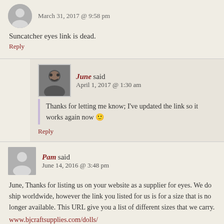March 31, 2017 @ 9:58 pm
Suncatcher eyes link is dead.
Reply
June said
April 1, 2017 @ 1:30 am
Thanks for letting me know; I've updated the link so it works again now 🙂
Reply
Pam said
June 14, 2016 @ 3:48 pm
June, Thanks for listing us on your website as a supplier for eyes. We do ship worldwide, however the link you listed for us is for a size that is no longer available. This URL give you a list of different sizes that we carry.
www.bjcraftsupplies.com/dolls/
Reply